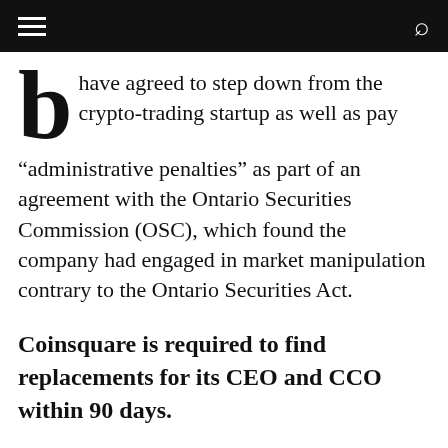[hamburger menu] [search icon]
have agreed to step down from the crypto-trading startup as well as pay “administrative penalties” as part of an agreement with the Ontario Securities Commission (OSC), which found the company had engaged in market manipulation contrary to the Ontario Securities Act.
Coinsquare is required to find replacements for its CEO and CCO within 90 days.
In a hearing that took place today, the OSC commissioner approved a settlement reached